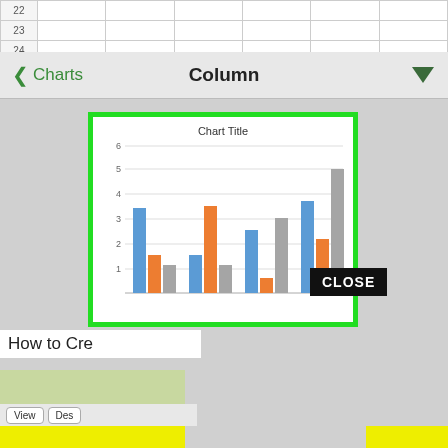| 22 |  |  |  |  |  |
| 23 |  |  |  |  |  |
| 24 |  |  |  |  |  |
Column
[Figure (grouped-bar-chart): Grouped bar chart with 4 groups of 3 bars each (blue, orange, gray). Y-axis from 1 to 6.]
CLOSE
How to Cre